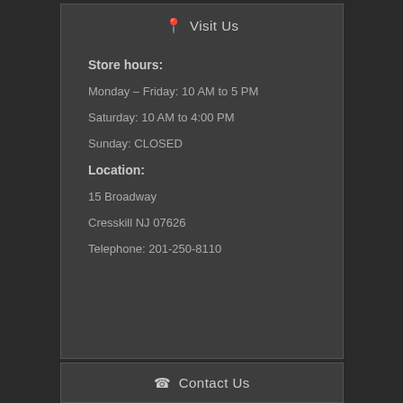Visit Us
Store hours:
Monday – Friday: 10 AM to 5 PM
Saturday: 10 AM to 4:00 PM
Sunday: CLOSED
Location:
15 Broadway
Cresskill NJ 07626
Telephone: 201-250-8110
Contact Us